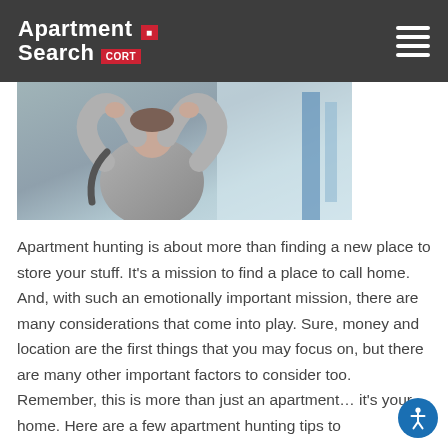Apartment Search CORT
[Figure (photo): A person with hands behind head, viewed from behind, looking at something off-screen in a light interior setting.]
Apartment hunting is about more than finding a new place to store your stuff. It's a mission to find a place to call home. And, with such an emotionally important mission, there are many considerations that come into play. Sure, money and location are the first things that you may focus on, but there are many other important factors to consider too. Remember, this is more than just an apartment… it's your home. Here are a few apartment hunting tips to